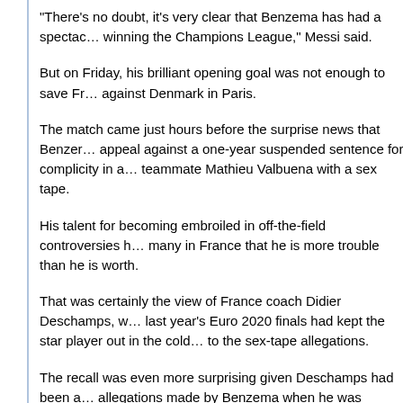"There's no doubt, it's very clear that Benzema has had a spectacular year, winning the Champions League," Messi said.
But on Friday, his brilliant opening goal was not enough to save Fr... against Denmark in Paris.
The match came just hours before the surprise news that Benzer... appeal against a one-year suspended sentence for complicity in a... teammate Mathieu Valbuena with a sex tape.
His talent for becoming embroiled in off-the-field controversies h... many in France that he is more trouble than he is worth.
That was certainly the view of France coach Didier Deschamps, w... last year's Euro 2020 finals had kept the star player out in the cold... to the sex-tape allegations.
The recall was even more surprising given Deschamps had been a... allegations made by Benzema when he was omitted from the Eur... France.
Deschamps had "yielded to pressure from a racist party in France...